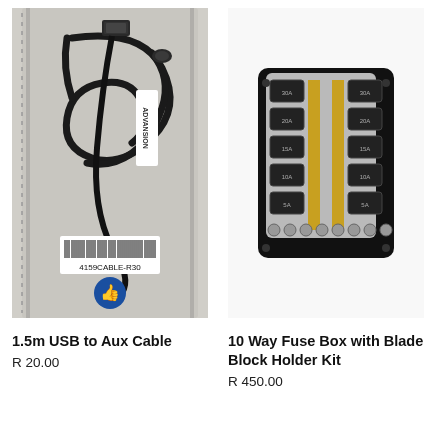[Figure (photo): 1.5m USB to Aux Cable coiled in plastic packaging with barcode label reading 4159CABLE-R30 and brand logo]
[Figure (photo): 10 Way Fuse Box with Blade Block Holder Kit shown on black mounting plate with clear cover and gold/yellow fuses]
1.5m USB to Aux Cable
R 20.00
10 Way Fuse Box with Blade Block Holder Kit
R 450.00